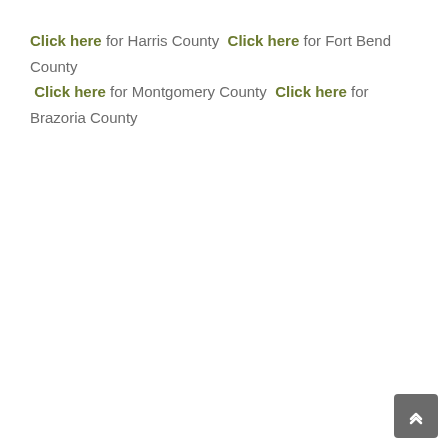Click here for Harris County  Click here for Fort Bend County  Click here for Montgomery County  Click here for Brazoria County